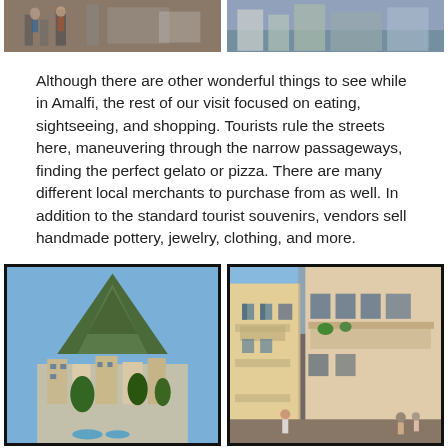[Figure (photo): Two travel photos at top of page: left shows people on stairs/market area, right shows a street scene with signage]
Although there are other wonderful things to see while in Amalfi, the rest of our visit focused on eating, sightseeing, and shopping. Tourists rule the streets here, maneuvering through the narrow passageways, finding the perfect gelato or pizza. There are many different local merchants to purchase from as well. In addition to the standard tourist souvenirs, vendors sell handmade pottery, jewelry, clothing, and more.
[Figure (photo): Two travel photos at bottom: left shows Amalfi hillside town with mountain backdrop and blue sky, right shows narrow street with colorful buildings and tourists]